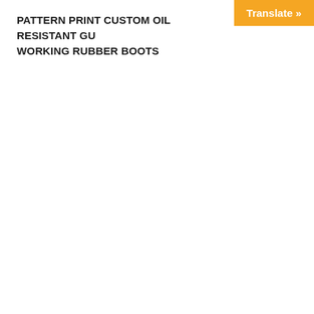Translate »
PATTERN PRINT CUSTOM OIL RESISTANT GUMBOOTS WORKING RUBBER BOOTS